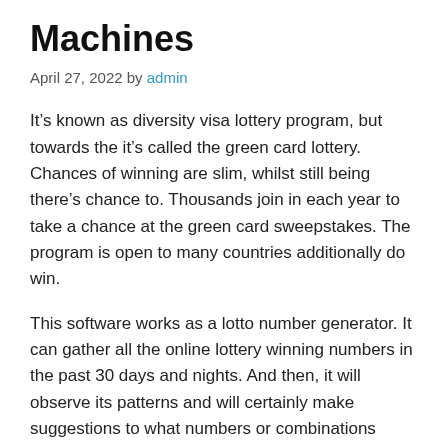Machines
April 27, 2022 by admin
It’s known as diversity visa lottery program, but towards the it’s called the green card lottery. Chances of winning are slim, whilst still being there’s chance to. Thousands join in each year to take a chance at the green card sweepstakes. The program is open to many countries additionally do win.
This software works as a lotto number generator. It can gather all the online lottery winning numbers in the past 30 days and nights. And then, it will observe its patterns and will certainly make suggestions to what numbers or combinations which usually best